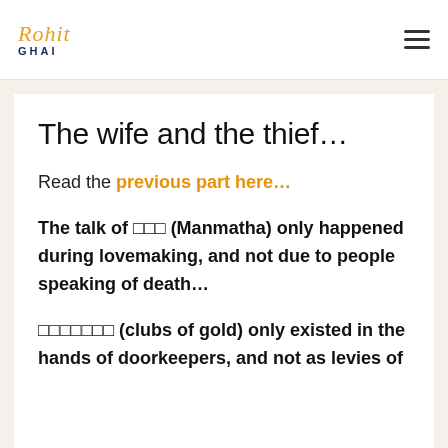Rohit Ghai
The wife and the thief…
Read the previous part here…
The talk of ??? (Manmatha) only happened during lovemaking, and not due to people speaking of death…
??????? (clubs of gold) only existed in the hands of doorkeepers, and not as levies of